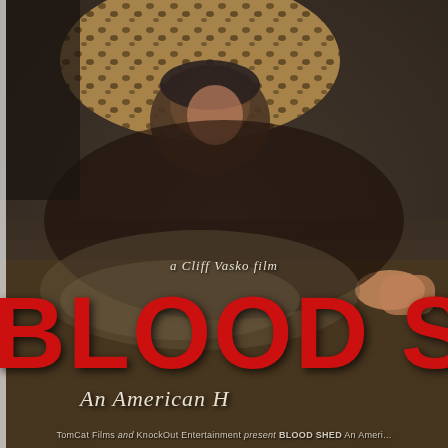[Figure (photo): Movie poster for 'Blood Shed: An American Horror' directed by Cliff Vasko. The background shows a gritty, dirt-covered scene with a person crawling on the ground. The upper portion shows a figure in leopard print clothing. The bottom has large red distressed text reading 'BLOOD S...' (partially cropped), with subtitle 'An American H...' (cropped). At the bottom: 'TomCat Films and KnockOut Entertainment present BLOOD SHED An Ameri...']
a Cliff Vasko film
BLOOD S[HED]
An American H[orror]
TomCat Films and KnockOut Entertainment present BLOOD SHED An Ameri...